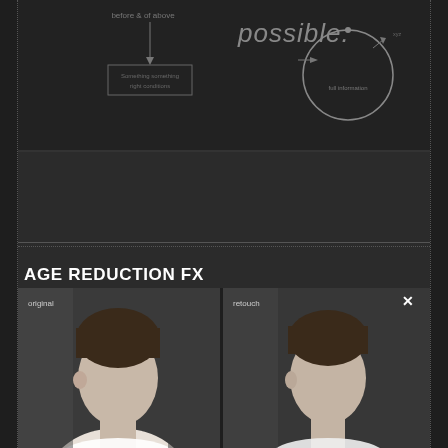[Figure (schematic): Top portion of a diagram showing a workflow or process schematic with text labels including 'possible', arrows, a circular element on the right, and rectangular boxes with labels, on a dark background.]
AGE REDUCTION FX
[Figure (photo): Side-by-side photo comparison panel showing two portrait images of a woman labeled 'original' and 'retouch', with a close/X button on the retouch panel, both images showing a woman in a light-colored top against a gray background.]